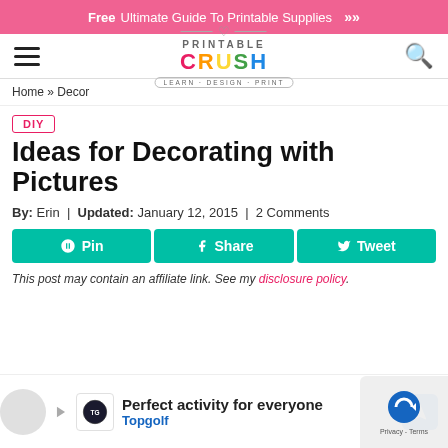Free Ultimate Guide To Printable Supplies »
[Figure (logo): Printable Crush logo with heart icon, colorful CRUSH text, and LEARN · DESIGN · PRINT tagline]
Home » Decor
DIY
Ideas for Decorating with Pictures
By: Erin | Updated: January 12, 2015 | 2 Comments
Pin  Share  Tweet
This post may contain an affiliate link. See my disclosure policy.
[Figure (screenshot): Topgolf advertisement banner: Perfect activity for everyone - Topgolf]